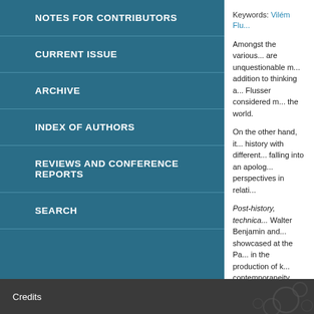NOTES FOR CONTRIBUTORS
CURRENT ISSUE
ARCHIVE
INDEX OF AUTHORS
REVIEWS AND CONFERENCE REPORTS
SEARCH
Keywords: Vilém Flu...
Amongst the various... are unquestionable m... addition to thinking a... Flusser considered m... the world.
On the other hand, it... history with different... falling into an apolog... perspectives in relati...
Post-history, technica... Walter Benjamin and... showcased at the Pa... in the production of k... contemporaneity.
→ Post-History (PDF...
Credits